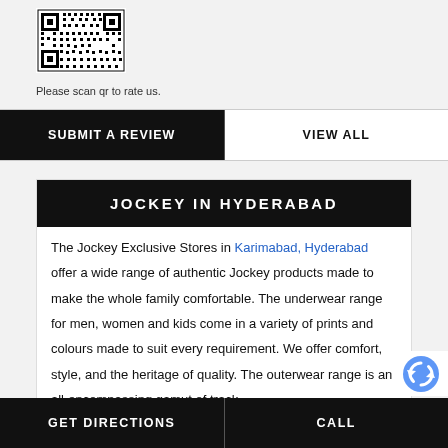[Figure (other): QR code image for rating]
Please scan qr to rate us.
SUBMIT A REVIEW
VIEW ALL
JOCKEY IN HYDERABAD
The Jockey Exclusive Stores in Karimabad, Hyderabad offer a wide range of authentic Jockey products made to make the whole family comfortable. The underwear range for men, women and kids come in a variety of prints and colours made to suit every requirement. We offer comfort, style, and the heritage of quality. The outerwear range is an all-encompassing gamut of track
GET DIRECTIONS    CALL